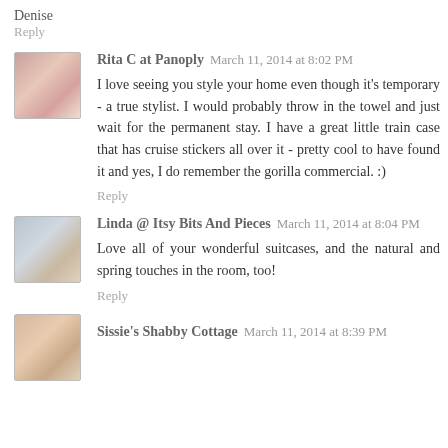Denise
Reply
Rita C at Panoply  March 11, 2014 at 8:02 PM
I love seeing you style your home even though it's temporary - a true stylist. I would probably throw in the towel and just wait for the permanent stay. I have a great little train case that has cruise stickers all over it - pretty cool to have found it and yes, I do remember the gorilla commercial. :)
Reply
Linda @ Itsy Bits And Pieces  March 11, 2014 at 8:04 PM
Love all of your wonderful suitcases, and the natural and spring touches in the room, too!
Reply
Sissie's Shabby Cottage  March 11, 2014 at 8:39 PM